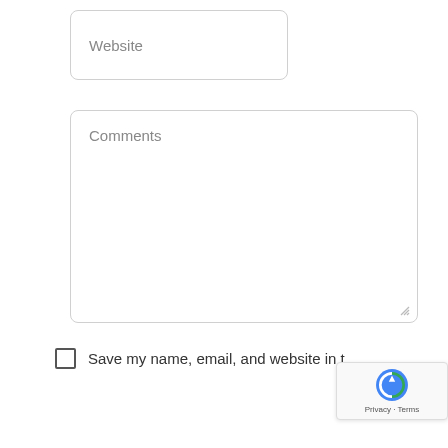Website
Comments
Save my name, email, and website in t
[Figure (screenshot): reCAPTCHA badge with logo and Privacy - Terms text]